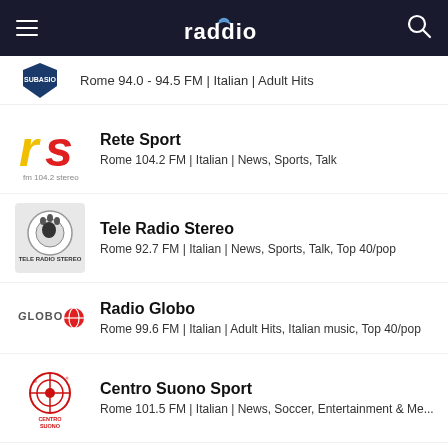raddio
Rome 94.0 - 94.5 FM | Italian | Adult Hits
Rete Sport
Rome 104.2 FM | Italian | News, Sports, Talk
Tele Radio Stereo
Rome 92.7 FM | Italian | News, Sports, Talk, Top 40/pop
Radio Globo
Rome 99.6 FM | Italian | Adult Hits, Italian music, Top 40/pop
Centro Suono Sport
Rome 101.5 FM | Italian | News, Soccer, Entertainment & Me...
Rai Radio Tutta Italiana
Rome | Italian | Italian music, Top 40/pop
Radio Subasio+
Amatrice 102.2 FM | Italian | Adult Hits